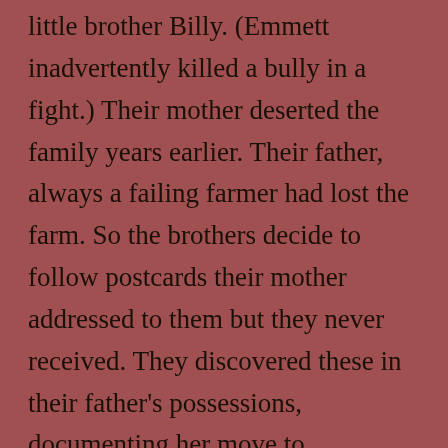little brother Billy. (Emmett inadvertently killed a bully in a fight.) Their mother deserted the family years earlier. Their father, always a failing farmer had lost the farm. So the brothers decide to follow postcards their mother addressed to them but they never received. They discovered these in their father's possessions, documenting her move to California along the Lincoln Highway when she fled Nebraska. The brothers' decision to follow her path and try to find her goes awry when Duchess and Wooly appear. They are friends of Emmett's from Salina and they have a plan that means they want to head East. Neighbor Sally, friend/classmate/once a semi-girlfriend to Emmett, brings common sense and a burgeoning 1954 feminist sensibility to the mix. One way or another, everyone ends up on the road. This is one of those books where